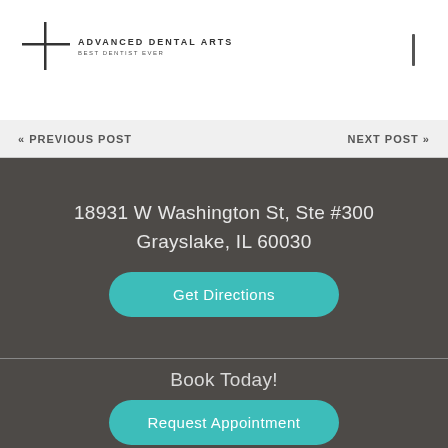Advanced Dental Arts
« Previous Post
Next Post »
18931 W Washington St, Ste #300
Grayslake, IL 60030
Get Directions
Book Today!
(847) 595-8132
Request Appointment